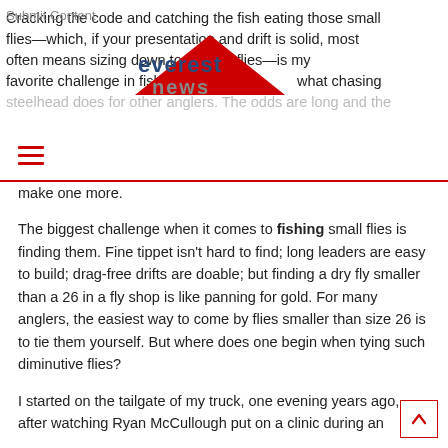Cracking the code and catching the fish eating those small flies—which, if your presentation and drift is solid, most often means sizing down to smaller flies—is my favorite challenge in fishing. It does what chasing steelhead does for other anglers. The odds are long and the
[Figure (logo): Everest News logo with red triangle mountain graphic and gray/blue text]
make one more.
The biggest challenge when it comes to fishing small flies is finding them. Fine tippet isn't hard to find; long leaders are easy to build; drag-free drifts are doable; but finding a dry fly smaller than a 26 in a fly shop is like panning for gold. For many anglers, the easiest way to come by flies smaller than size 26 is to tie them yourself. But where does one begin when tying such diminutive flies?
I started on the tailgate of my truck, one evening years ago, after watching Ryan McCullough put on a clinic during an